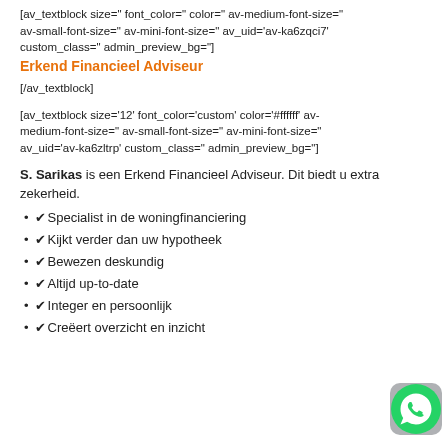[av_textblock size=" font_color=" color=" av-medium-font-size=" av-small-font-size=" av-mini-font-size=" av_uid='av-ka6zqci7' custom_class=" admin_preview_bg="]
Erkend Financieel Adviseur
[/av_textblock]
[av_textblock size='12' font_color='custom' color='#ffffff' av-medium-font-size=" av-small-font-size=" av-mini-font-size=" av_uid='av-ka6zltrp' custom_class=" admin_preview_bg="]
S. Sarikas is een Erkend Financieel Adviseur. Dit biedt u extra zekerheid.
✔Specialist in de woningfinanciering
✔Kijkt verder dan uw hypotheek
✔Bewezen deskundig
✔Altijd up-to-date
✔Integer en persoonlijk
✔Creëert overzicht en inzicht